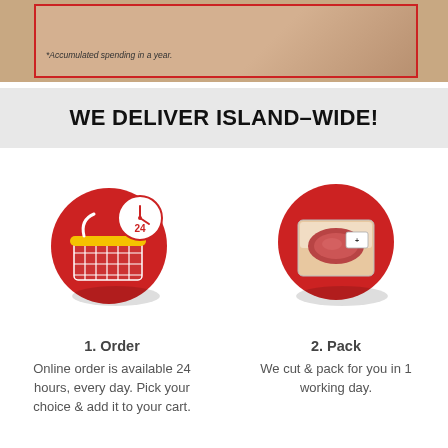[Figure (photo): Top portion of a promotional image with a red border on a warm-toned background]
*Accumulated spending in a year.
WE DELIVER ISLAND-WIDE!
[Figure (illustration): Red circle icon with a shopping basket and a 24-hour clock badge for Order step]
[Figure (illustration): Red circle icon with a packaged meat product for Pack step]
1. Order
Online order is available 24 hours, every day. Pick your choice & add it to your cart.
2. Pack
We cut & pack for you in 1 working day.